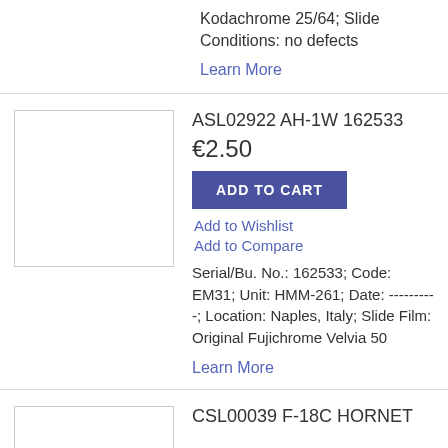Kodachrome 25/64; Slide Conditions: no defects
Learn More
[Figure (photo): Product image placeholder (white box with border)]
ASL02922 AH-1W 162533
€2.50
ADD TO CART
Add to Wishlist
Add to Compare
Serial/Bu. No.: 162533; Code: EM31; Unit: HMM-261; Date: ----------; Location: Naples, Italy; Slide Film: Original Fujichrome Velvia 50
Learn More
[Figure (photo): Product image placeholder (white box with border)]
CSL00039 F-18C HORNET